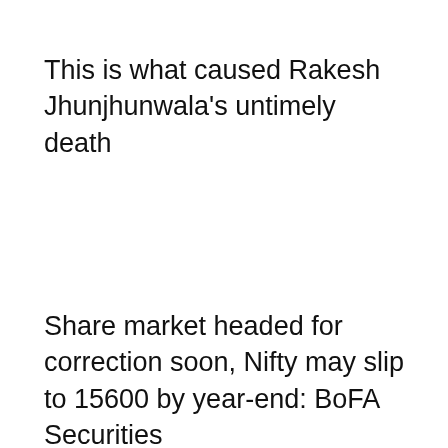This is what caused Rakesh Jhunjhunwala's untimely death
Share market headed for correction soon, Nifty may slip to 15600 by year-end: BoFA Securities